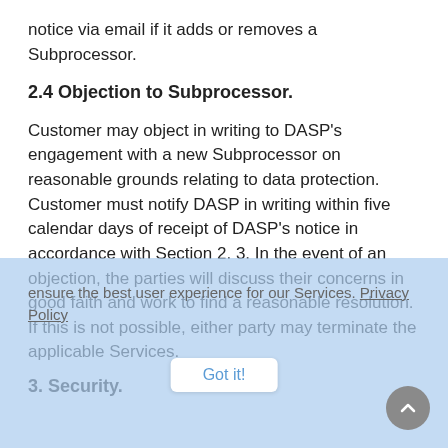notice via email if it adds or removes a Subprocessor.
2.4 Objection to Subprocessor.
Customer may object in writing to DASP's engagement with a new Subprocessor on reasonable grounds relating to data protection. Customer must notify DASP in writing within five calendar days of receipt of DASP's notice in accordance with Section 2.3. In the event of an objection, the parties will discuss their concerns in good faith and work to find a reasonable resolution. If this is not possible, either party may terminate the applicable Services.
3. Security.